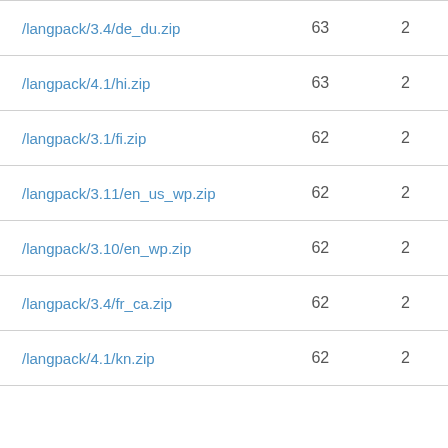| Path | Col2 | Col3 |
| --- | --- | --- |
| /langpack/3.4/de_du.zip | 63 | 2 |
| /langpack/4.1/hi.zip | 63 | 2 |
| /langpack/3.1/fi.zip | 62 | 2 |
| /langpack/3.11/en_us_wp.zip | 62 | 2 |
| /langpack/3.10/en_wp.zip | 62 | 2 |
| /langpack/3.4/fr_ca.zip | 62 | 2 |
| /langpack/4.1/kn.zip | 62 | 2 |